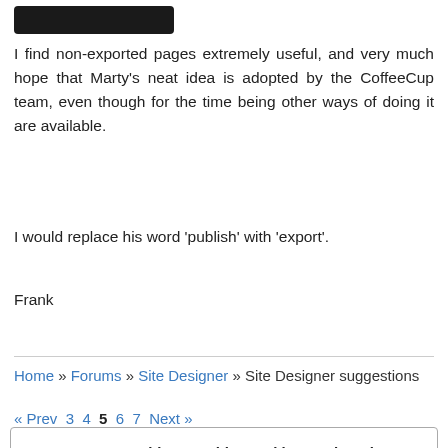[Figure (other): Black redacted/avatar bar at the top of the post]
I find non-exported pages extremely useful, and very much hope that Marty's neat idea is adopted by the CoffeeCup team, even though for the time being other ways of doing it are available.
I would replace his word 'publish' with 'export'.
Frank
Home » Forums » Site Designer » Site Designer suggestions
« Prev 3 4 5 6 7 Next »
Have something to add? We'd love to hear it!